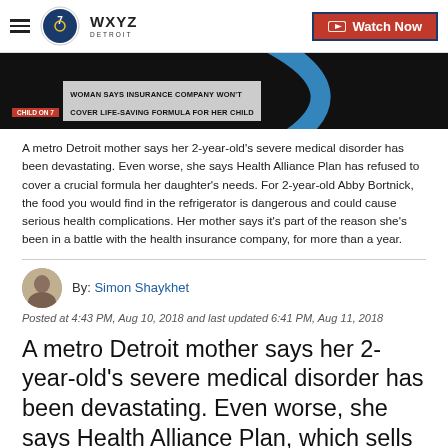WXYZ Detroit — Watch Now
[Figure (screenshot): Dark video thumbnail showing TV news chyron: 'WOMAN SAYS INSURANCE COMPANY WON'T COVER LIFE-SAVING FORMULA FOR HER CHILD' with a blue arc overlay]
A metro Detroit mother says her 2-year-old's severe medical disorder has been devastating. Even worse, she says Health Alliance Plan has refused to cover a crucial formula her daughter's needs. For 2-year-old Abby Bortnick, the food you would find in the refrigerator is dangerous and could cause serious health complications. Her mother says it's part of the reason she's been in a battle with the health insurance company, for more than a year.
[Figure (photo): Small circular headshot of journalist Simon Shaykhet]
By: Simon Shaykhet
Posted at 4:43 PM, Aug 10, 2018 and last updated 6:41 PM, Aug 11, 2018
A metro Detroit mother says her 2-year-old's severe medical disorder has been devastating. Even worse, she says Health Alliance Plan, which sells health insurance in several states, has refused to cover a crucial formula